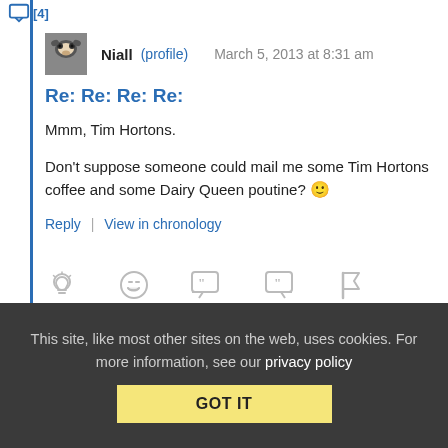[Figure (screenshot): Small avatar/profile image for user Niall, showing a raccoon or similar animal face]
Niall (profile)  March 5, 2013 at 8:31 am
Re: Re: Re: Re:
Mmm, Tim Hortons.

Don't suppose someone could mail me some Tim Hortons coffee and some Dairy Queen poutine? 🙂
Reply | View in chronology
[Figure (infographic): Row of action icons: lightbulb, laughing face, open-quote speech bubble, close-quote speech bubble, flag]
This site, like most other sites on the web, uses cookies. For more information, see our privacy policy
GOT IT